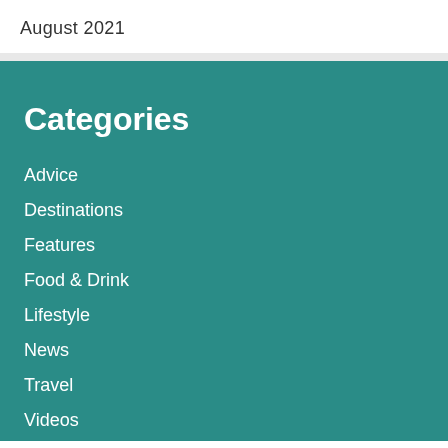August 2021
Categories
Advice
Destinations
Features
Food & Drink
Lifestyle
News
Travel
Videos